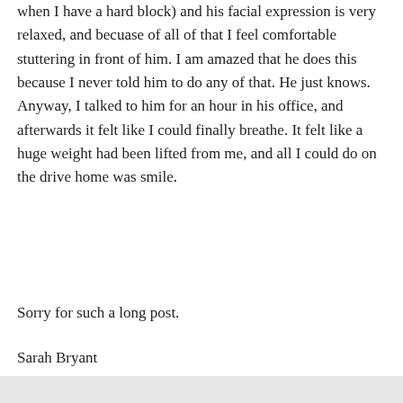when I have a hard block) and his facial expression is very relaxed, and becuase of all of that I feel comfortable stuttering in front of him. I am amazed that he does this because I never told him to do any of that. He just knows. Anyway, I talked to him for an hour in his office, and afterwards it felt like I could finally breathe. It felt like a huge weight had been lifted from me, and all I could do on the drive home was smile.
Sorry for such a long post.
Sarah Bryant
↳ Reply